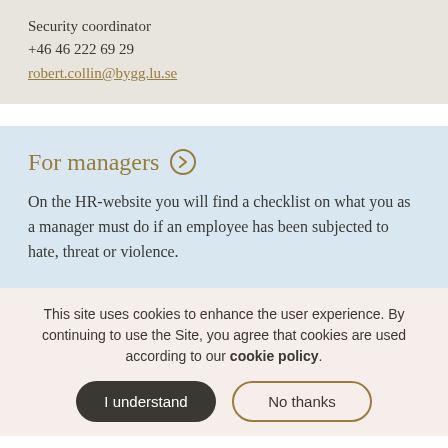Security coordinator
+46 46 222 69 29
robert.collin@bygg.lu.se
For managers
On the HR-website you will find a checklist on what you as a manager must do if an employee has been subjected to hate, threat or violence.
This site uses cookies to enhance the user experience. By continuing to use the Site, you agree that cookies are used according to our cookie policy.